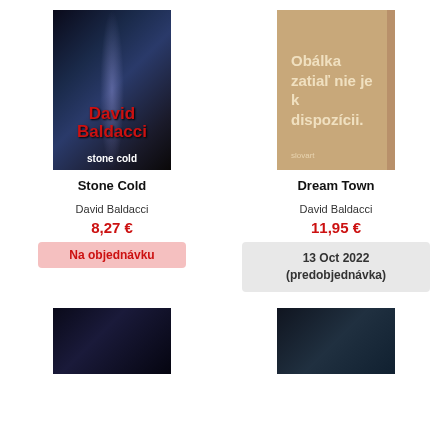[Figure (photo): Book cover: Stone Cold by David Baldacci, dark thriller cover with red author name]
[Figure (illustration): Placeholder book cover: tan/beige with text 'Obálka zatiaľ nie je k dispozícii.' and Slovart logo]
Stone Cold
Dream Town
David Baldacci
David Baldacci
8,27 €
11,95 €
Na objednávku
13 Oct 2022 (predobjednávka)
[Figure (photo): Partial book cover thumbnail at bottom left]
[Figure (photo): Partial book cover thumbnail at bottom right]